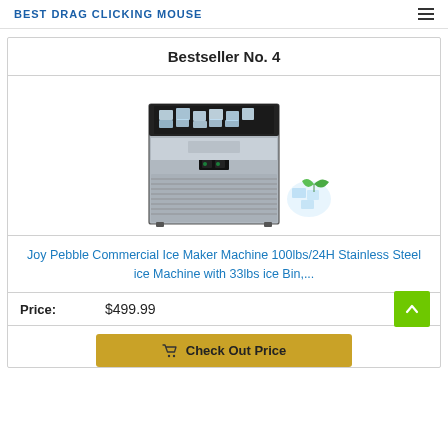BEST DRAG CLICKING MOUSE
Bestseller No. 4
[Figure (photo): Joy Pebble commercial ice maker machine, stainless steel body with ice cubes visible in the top compartment and decorative ice with mint leaf on the side]
Joy Pebble Commercial Ice Maker Machine 100lbs/24H Stainless Steel ice Machine with 33lbs ice Bin,...
Price: $499.99
Check Out Price